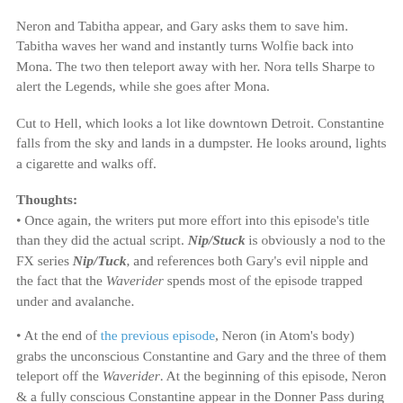Neron and Tabitha appear, and Gary asks them to save him. Tabitha waves her wand and instantly turns Wolfie back into Mona. The two then teleport away with her. Nora tells Sharpe to alert the Legends, while she goes after Mona.
Cut to Hell, which looks a lot like downtown Detroit. Constantine falls from the sky and lands in a dumpster. He looks around, lights a cigarette and walks off.
Thoughts:
Once again, the writers put more effort into this episode's title than they did the actual script. Nip/Stuck is obviously a nod to the FX series Nip/Tuck, and references both Gary's evil nipple and the fact that the Waverider spends most of the episode trapped under and avalanche.
At the end of the previous episode, Neron (in Atom's body) grabs the unconscious Constantine and Gary and the three of them teleport off the Waverider. At the beginning of this episode, Neron & a fully conscious Constantine appear in the Donner Pass during the Ice Age. Constantine asks,